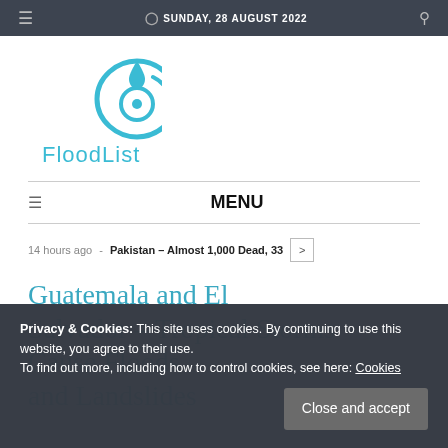SUNDAY, 28 AUGUST 2022
[Figure (logo): FloodList logo — a stylized water drop / circular icon in cyan/blue with the text FloodList below it in cyan]
MENU
14 hours ago - Pakistan – Almost 1,000 Dead, 33...
Guatemala and El Salvador – Tropical Storms Cause Floods and Landslides
Privacy & Cookies: This site uses cookies. By continuing to use this website, you agree to their use. To find out more, including how to control cookies, see here: Cookies
Close and accept